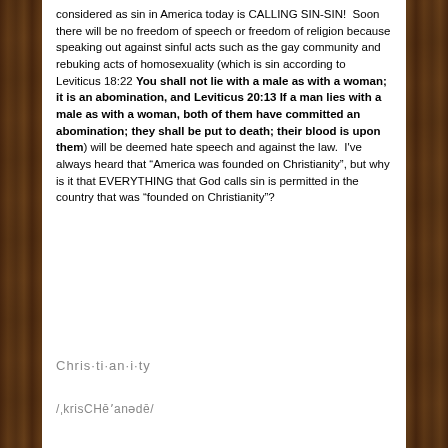considered as sin in America today is CALLING SIN-SIN! Soon there will be no freedom of speech or freedom of religion because speaking out against sinful acts such as the gay community and rebuking acts of homosexuality (which is sin according to Leviticus 18:22 You shall not lie with a male as with a woman; it is an abomination, and Leviticus 20:13 If a man lies with a male as with a woman, both of them have committed an abomination; they shall be put to death; their blood is upon them) will be deemed hate speech and against the law. I've always heard that “America was founded on Christianity”, but why is it that EVERYTHING that God calls sin is permitted in the country that was “founded on Christianity”?
Chris·ti·an·i·ty
/ˌkrisCHēʻanədē/